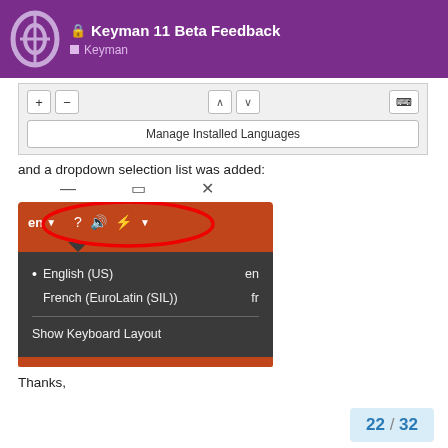Keyman 11 Beta Feedback — Keyman
[Figure (screenshot): UI panel with + - up down arrow buttons and Manage Installed Languages button]
and a dropdown selection list was added:
[Figure (screenshot): Screenshot of Keyman taskbar dropdown showing English (US) en and French (EuroLatin (SIL)) fr options, and Show Keyboard Layout, with red oval annotation circling the 'en' dropdown button]
Thanks,
22 / 32